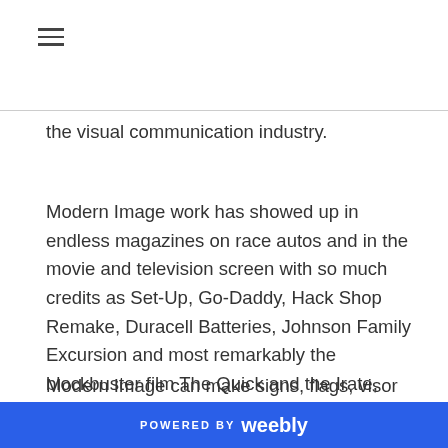the visual communication industry.
Modern Image work has showed up in endless magazines on race autos and in the movie and television screen with so much credits as Set-Up, Go-Daddy, Hack Shop Remake, Duracell Batteries, Johnson Family Excursion and most remarkably the blockbuster film The Quick and the Irate, alongside its spin-offs.
Modern Image can make signs, flags, visor decals,
POWERED BY weebly